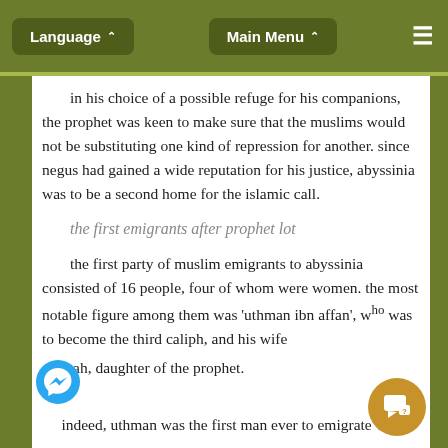Language ▾   Main Menu ▾   ☰
in his choice of a possible refuge for his companions, the prophet was keen to make sure that the muslims would not be substituting one kind of repression for another. since negus had gained a wide reputation for his justice, abyssinia was to be a second home for the islamic call.
the first emigrants after prophet lot
the first party of muslim emigrants to abyssinia consisted of 16 people, four of whom were women. the most notable figure among them was 'uthman ibn affan', who was to become the third caliph, and his wife ruqayyah, daughter of the prophet.
indeed, uthman was the first man ever to emigrate with